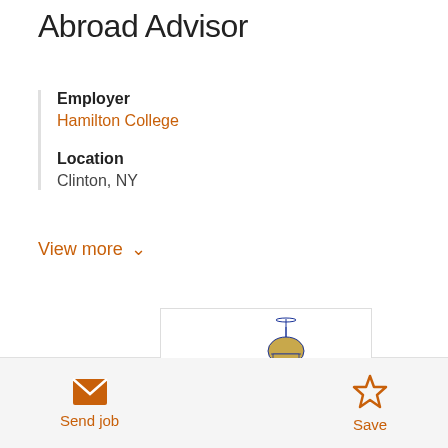Abroad Advisor
Employer
Hamilton College
Location
Clinton, NY
View more
[Figure (logo): Hamilton College logo with dome building icon above the word Hamilton in blue serif font]
Send job
Save